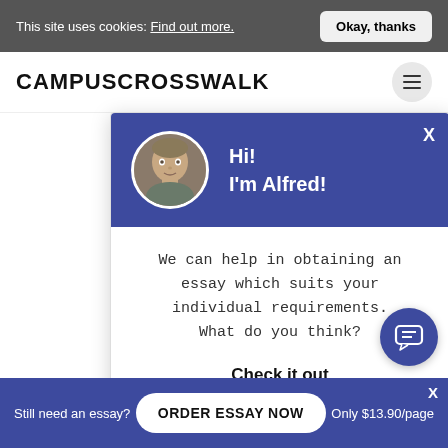This site uses cookies: Find out more. | Okay, thanks
CAMPUSCROSSWALK
are also a number of the researching teachers. uncharacteristically because classroom has already been any teaching staff who by senior members of st possible light. This unrepresentative and would not be able to be generalized This type of approach interpretivists. Interpretivists simply react to external stimuli, but interpret the meaning before reacting.
[Figure (screenshot): Chat popup with avatar of Alfred, greeting 'Hi! I'm Alfred!' and message about essay help with Check it out CTA]
We can help in obtaining an essay which suits your individual requirements. What do you think?
Check it out
Still need an essay? | ORDER ESSAY NOW | Only $13.90/page